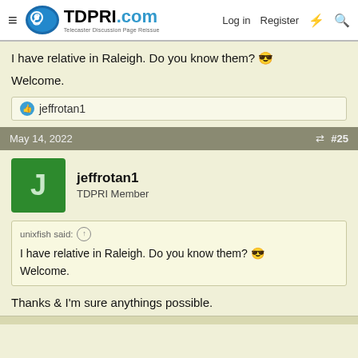TDPRI.com — Telecaster Discussion Page Reissue | Log in | Register
I have relative in Raleigh. Do you know them? 😎

Welcome.
👍 jeffrotan1
May 14, 2022  #25
jeffrotan1
TDPRI Member
unixfish said: ↑

I have relative in Raleigh. Do you know them? 😎

Welcome.
Thanks & I'm sure anythings possible.